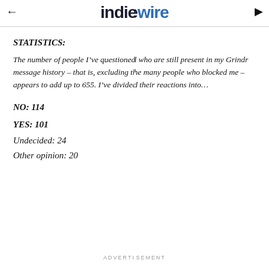IndieWire
STATISTICS:
The number of people I’ve questioned who are still present in my Grindr message history – that is, excluding the many people who blocked me – appears to add up to 655. I’ve divided their reactions into…
NO: 114
YES: 101
Undecided: 24
Other opinion: 20
ADVERTISEMENT